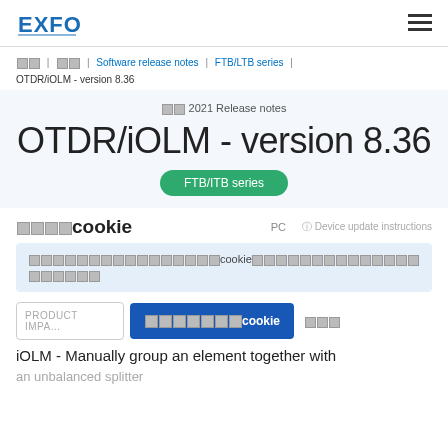EXFO | Menu
□□ | □□ | Software release notes | FTB/LTB series | OTDR/iOLM - version 8.36
□□ 2021 Release notes
OTDR/iOLM - version 8.36
FTB/ITB series
□□□□cookie
PC
Device update instructions
□□□□□□□□□□□□□□□□cookie□□□□□□□□□□□□□□□□□□□□
PRODUCT IMPA...
□□□□□□□cookie  □□□
iOLM - Manually group an element together with an unbalanced splitter